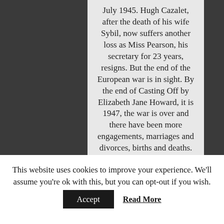July 1945. Hugh Cazalet, after the death of his wife Sybil, now suffers another loss as Miss Pearson, his secretary for 23 years, resigns. But the end of the European war is in sight. By the end of Casting Off by Elizabeth Jane Howard, it is 1947, the war is over and there have been more engagements, marriages and divorces, births and deaths. The title refers not just to ending relationships, but to letting go of war-time life. This is more complicated than anticipated. Longing for something for so long, does not make it easy to live
This website uses cookies to improve your experience. We'll assume you're ok with this, but you can opt-out if you wish.
Accept   Read More